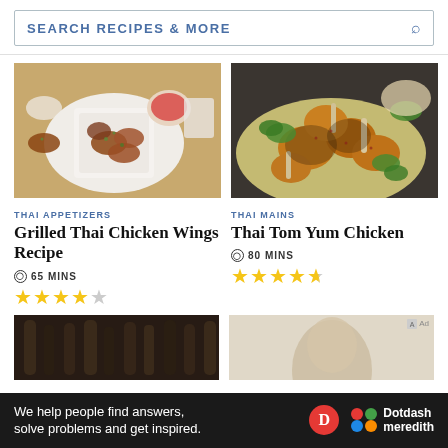SEARCH RECIPES & MORE
[Figure (photo): Grilled Thai chicken wings in a white bowl with dipping sauce on a wooden board]
THAI APPETIZERS
Grilled Thai Chicken Wings Recipe
65 MINS
[Figure (photo): Thai Tom Yum chicken pieces garnished with herbs on a plate]
THAI MAINS
Thai Tom Yum Chicken
80 MINS
[Figure (photo): Bottom left partial image of food in dark setting]
[Figure (photo): Bottom right partial image, Ad]
We help people find answers, solve problems and get inspired.
Dotdash meredith